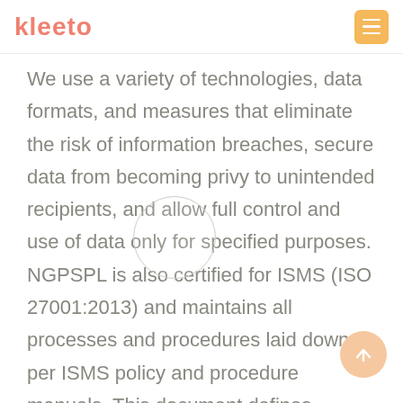kleeto
We use a variety of technologies, data formats, and measures that eliminate the risk of information breaches, secure data from becoming privy to unintended recipients, and allow full control and use of data only for specified purposes. NGPSPL is also certified for ISMS (ISO 27001:2013) and maintains all processes and procedures laid down as per ISMS policy and procedure manuals. This document defines overlapping additional procedures and controls